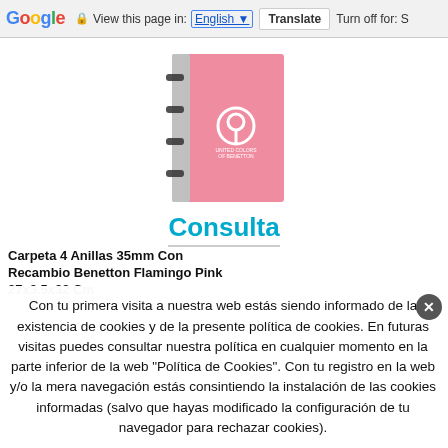Google  View this page in: English ▼  Translate  Turn off for: S
[Figure (photo): Pink Benetton 4-ring binder folder with logo, Flamingo Pink color]
Consulta
Carpeta 4 Anillas 35mm Con
Recambio Benetton Flamingo Pink
27x3.5x32 Cm
Con tu primera visita a nuestra web estás siendo informado de la existencia de cookies y de la presente política de cookies. En futuras visitas puedes consultar nuestra política en cualquier momento en la parte inferior de la web "Política de Cookies". Con tu registro en la web y/o la mera navegación estás consintiendo la instalación de las cookies informadas (salvo que hayas modificado la configuración de tu navegador para rechazar cookies).